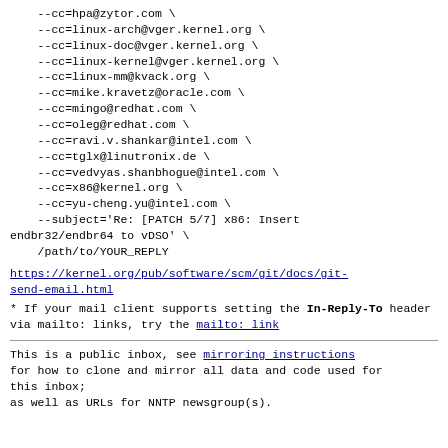--cc=hpa@zytor.com \
    --cc=linux-arch@vger.kernel.org \
    --cc=linux-doc@vger.kernel.org \
    --cc=linux-kernel@vger.kernel.org \
    --cc=linux-mm@kvack.org \
    --cc=mike.kravetz@oracle.com \
    --cc=mingo@redhat.com \
    --cc=oleg@redhat.com \
    --cc=ravi.v.shankar@intel.com \
    --cc=tglx@linutronix.de \
    --cc=vedvyas.shanbhogue@intel.com \
    --cc=x86@kernel.org \
    --cc=yu-cheng.yu@intel.com \
    --subject='Re: [PATCH 5/7] x86: Insert endbr32/endbr64 to vDSO' \
    /path/to/YOUR_REPLY
https://kernel.org/pub/software/scm/git/docs/git-send-email.html
* If your mail client supports setting the In-Reply-To header
  via mailto: links, try the mailto: link
This is a public inbox, see mirroring instructions
for how to clone and mirror all data and code used for
this inbox;
as well as URLs for NNTP newsgroup(s).